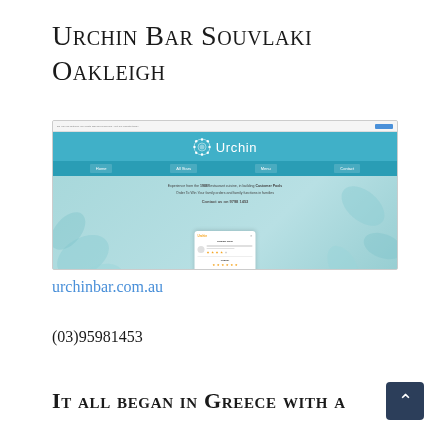Urchin Bar Souvlaki Oakleigh
[Figure (screenshot): Screenshot of the Urchin Bar website showing a teal/blue header with the Urchin logo, navigation menu, and an order/review popup card overlay.]
urchinbar.com.au
(03)95981453
It all began in Greece with a